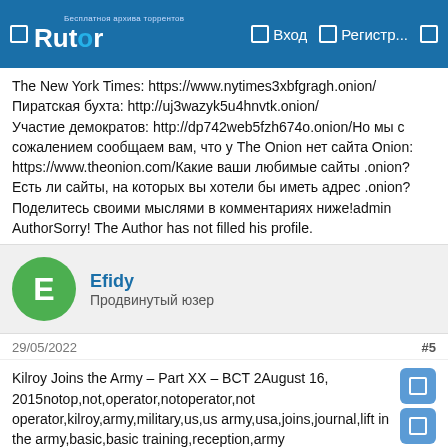Rutor — Вход — Регистр...
The New York Times: https://www.nytimes3xbfgragh.onion/ Пиратская бухта: http://uj3wazyk5u4hnvtk.onion/ Участие демократов: http://dp742web5fzh674o.onion/Но мы с сожалением сообщаем вам, что у The Onion нет сайта Onion: https://www.theonion.com/Какие ваши любимые сайты .onion? Есть ли сайты, на которых вы хотели бы иметь адрес .onion? Поделитесь своими мыслями в комментариях ниже!admin AuthorSorry! The Author has not filled his profile.
Efidy
Продвинутый юзер
29/05/2022
#5
Kilroy Joins the Army – Part XX – BCT 2August 16, 2015notop,not,operator,notoperator,not operator,kilroy,army,military,us,us army,usa,joins,journal,lift in the army,basic,basic training,reception,army reception,bct,dfac,meps,ftc,fitness training